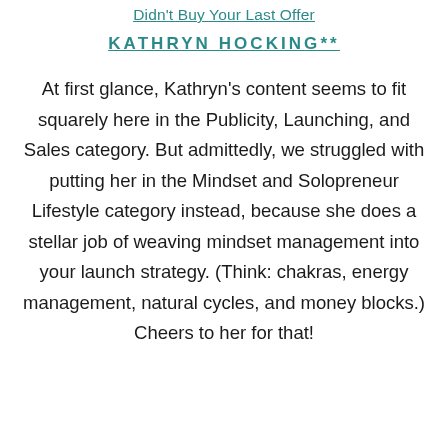Didn't Buy Your Last Offer
KATHRYN HOCKING**
At first glance, Kathryn's content seems to fit squarely here in the Publicity, Launching, and Sales category. But admittedly, we struggled with putting her in the Mindset and Solopreneur Lifestyle category instead, because she does a stellar job of weaving mindset management into your launch strategy. (Think: chakras, energy management, natural cycles, and money blocks.) Cheers to her for that!